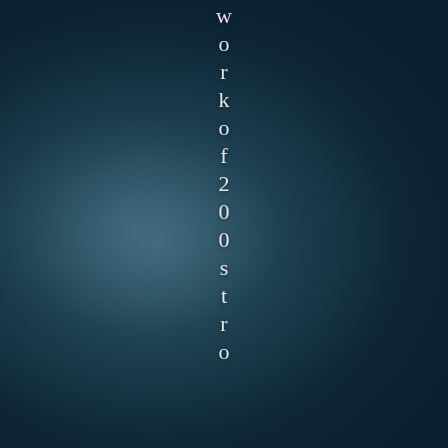[Figure (photo): Dark teal/navy blue background with subtle radial light glow on the left-center area, giving a bokeh/depth-of-field photographic effect.]
work of 200 stro